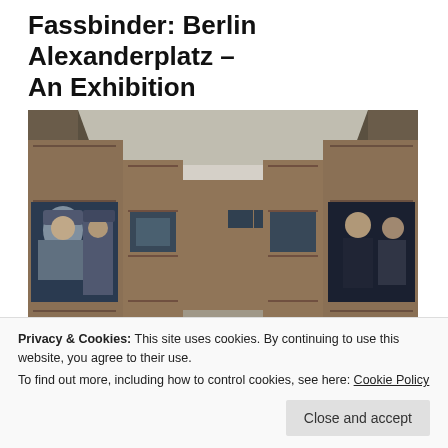Fassbinder: Berlin Alexanderplatz – An Exhibition
Posted on August 12, 2011
[Figure (photo): Interior rendering of a gallery exhibition space showing a long room with wooden shelving units along both walls, multiple video screens/monitors displaying film stills mounted on the shelves, with a large screen on the far left showing a man in a military hat and a large screen on the far right showing two figures. The room has a bright ceiling and concrete floor with a corridor-like perspective.]
Privacy & Cookies: This site uses cookies. By continuing to use this website, you agree to their use.
To find out more, including how to control cookies, see here: Cookie Policy